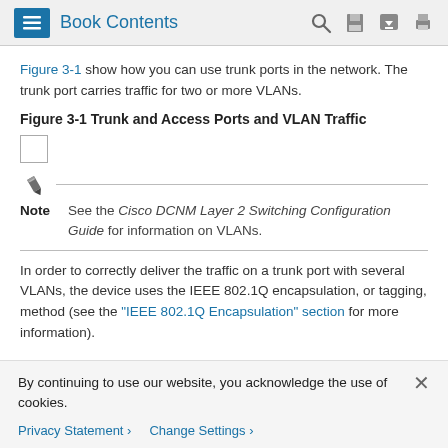Book Contents
Figure 3-1 show how you can use trunk ports in the network. The trunk port carries traffic for two or more VLANs.
Figure 3-1 Trunk and Access Ports and VLAN Traffic
[Figure (illustration): Placeholder checkbox/image area for Figure 3-1]
Note  See the Cisco DCNM Layer 2 Switching Configuration Guide for information on VLANs.
In order to correctly deliver the traffic on a trunk port with several VLANs, the device uses the IEEE 802.1Q encapsulation, or tagging, method (see the "IEEE 802.1Q Encapsulation" section for more information).
By continuing to use our website, you acknowledge the use of cookies.
Privacy Statement  Change Settings